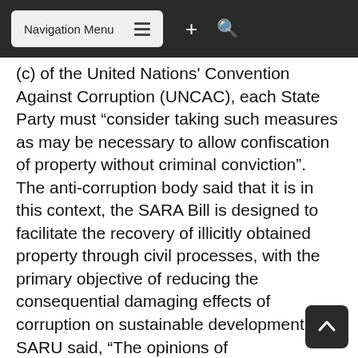Navigation Menu
(c) of the United Nations' Convention Against Corruption (UNCAC), each State Party must “consider taking such measures as may be necessary to allow confiscation of property without criminal conviction”. The anti-corruption body said that it is in this context, the SARA Bill is designed to facilitate the recovery of illicitly obtained property through civil processes, with the primary objective of reducing the consequential damaging effects of corruption on sustainable development. SARU said, “The opinions of